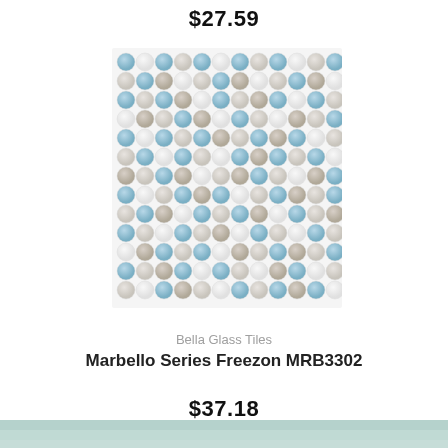$27.59
[Figure (photo): Mosaic tile product image showing a pattern of small round penny tiles in shades of light blue, gray, and white arranged in a grid]
Bella Glass Tiles
Marbello Series Freezon MRB3302
$37.18
[Figure (photo): Partial view of another tile product at the bottom edge of the page]